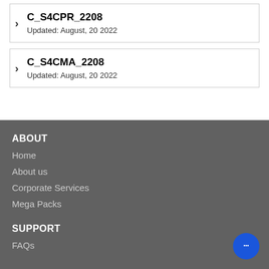C_S4CPR_2208
Updated: August, 20 2022
C_S4CMA_2208
Updated: August, 20 2022
ABOUT
Home
About us
Corporate Services
Mega Packs
SUPPORT
FAQs